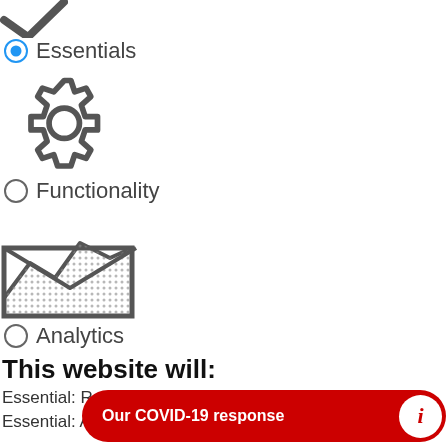[Figure (illustration): Partial checkmark icon at the top of the page]
Essentials
[Figure (illustration): Gear/settings icon]
Functionality
[Figure (illustration): Analytics/chart icon with dotted pattern]
Analytics
This website will:
Essential: Remember your cookie permission setting
Essential: Allow session cookies
Essential: Gather information you input into a contact forms, newsletter and other forms across all pages
Essential: Keep track of what you input in a shopping cart
Essential: Authenticate that you are logged in
Essential: Remember language version you selected
This website won't:
[Figure (infographic): COVID-19 response red pill-shaped banner with info icon]